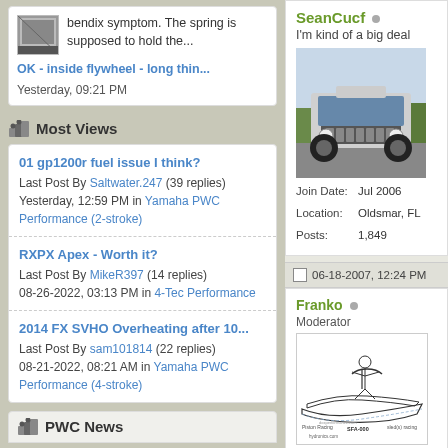bendix symptom. The spring is supposed to hold the...
OK - inside flywheel - long thin...
Yesterday, 09:21 PM
Most Views
01 gp1200r fuel issue I think?
Last Post By Saltwater.247 (39 replies) Yesterday, 12:59 PM in Yamaha PWC Performance (2-stroke)
RXPX Apex - Worth it?
Last Post By MikeR397 (14 replies) 08-26-2022, 03:13 PM in 4-Tec Performance
2014 FX SVHO Overheating after 10...
Last Post By sam101814 (22 replies) 08-21-2022, 08:21 AM in Yamaha PWC Performance (4-stroke)
PWC News
SeanCucf
I'm kind of a big deal
[Figure (photo): Front view of a lifted white Jeep vehicle]
Join Date:
Location:
Posts:
Jul 2006
Oldsmar, FL
1,849
06-18-2007, 12:24 PM
Franko
Moderator
[Figure (illustration): Line drawing of a jet ski / watercraft schematic with sponsor logos]